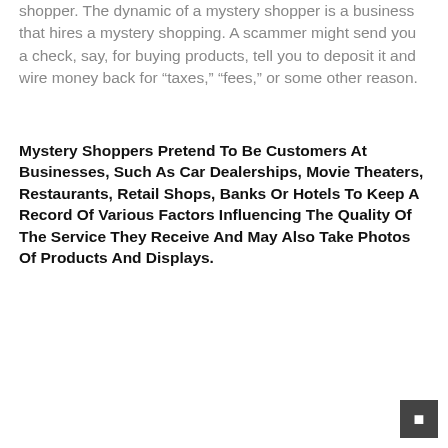shopper. The dynamic of a mystery shopper is a business that hires a mystery shopping. A scammer might send you a check, say, for buying products, tell you to deposit it and wire money back for “taxes,” “fees,” or some other reason.
Mystery Shoppers Pretend To Be Customers At Businesses, Such As Car Dealerships, Movie Theaters, Restaurants, Retail Shops, Banks Or Hotels To Keep A Record Of Various Factors Influencing The Quality Of The Service They Receive And May Also Take Photos Of Products And Displays.